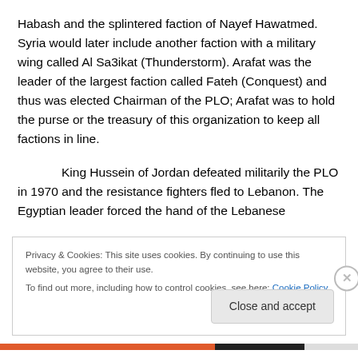Habash and the splintered faction of Nayef Hawatmed. Syria would later include another faction with a military wing called Al Sa3ikat (Thunderstorm).  Arafat was the leader of the largest faction called Fateh (Conquest) and thus was elected Chairman of the PLO; Arafat was to hold the purse or the treasury of this organization to keep all factions in line.
King Hussein of Jordan defeated militarily the PLO in 1970 and the resistance fighters fled to Lebanon.  The Egyptian leader forced the hand of the Lebanese
Privacy & Cookies: This site uses cookies. By continuing to use this website, you agree to their use.
To find out more, including how to control cookies, see here: Cookie Policy